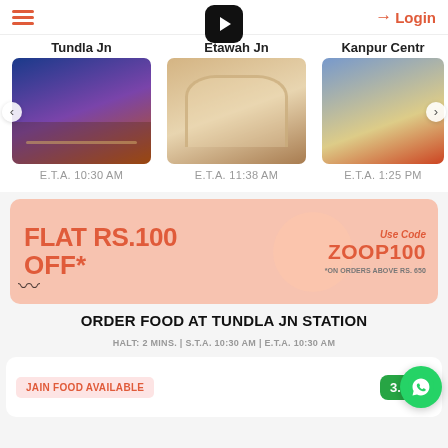≡  [Google Play Icon]  ⇒ Login
[Figure (photo): Station cards carousel showing Tundla Jn, Etawah Jn, and Kanpur Centr with station photos and ETA times]
[Figure (infographic): Promotional banner: FLAT RS.100 OFF* Use Code ZOOP100 *ON ORDERS ABOVE RS. 650, pink/salmon background with fried snacks]
ORDER FOOD AT TUNDLA JN STATION
HALT: 2 MINS. | S.T.A. 10:30 AM | E.T.A. 10:30 AM
[Figure (screenshot): Restaurant card bottom showing JAIN FOOD AVAILABLE badge and 3.7 star rating badge]